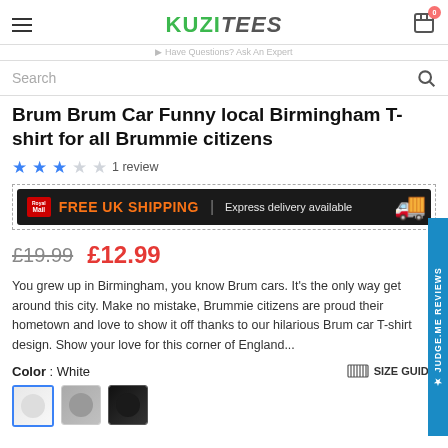KUZITEES — Have Questions? Ask An Expert
Search
Brum Brum Car Funny local Birmingham T-shirt for all Brummie citizens
1 review
[Figure (infographic): FREE UK SHIPPING | Express delivery available — Royal Mail branded dark banner with delivery van]
£19.99  £12.99
You grew up in Birmingham, you know Brum cars. It's the only way get around this city. Make no mistake, Brummie citizens are proud their hometown and love to show it off thanks to our hilarious Brum car T-shirt design. Show your love for this corner of England...
Color : White    SIZE GUIDE